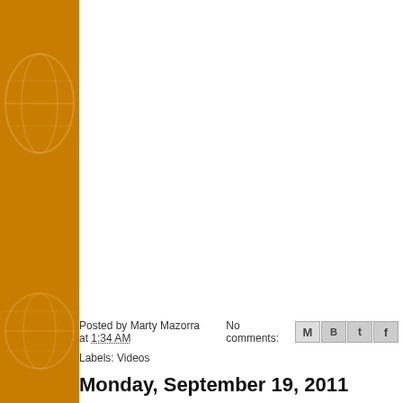Posted by Marty Mazorra at 1:34 AM    No comments:
Labels: Videos
Monday, September 19, 2011